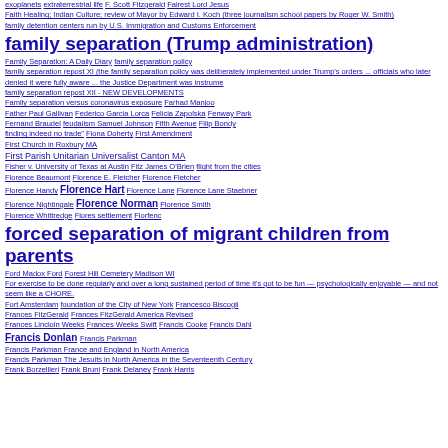exoplanets extraterrestrial life F. Scott Fitzgerald Fairest Lord Jesus
Faith Healing; Indian Culture; review of Mayor by Edward I. Koch (three journalism school papers by Roger W. Smith)
family detention centers run by U.S. Immigration and Customs Enforcement
family separation (Trump administration)
Family Separation: A Daily Diary   family separation policy
family separation repost XI (the family separation policy was deliberately implemented under Trump's orders ... officials who later denied it were fully aware ... the Justice Department was instrume
family separation repost XII - NEW DEVELOPMENTS
Family separation versus coronavirus exposure   Farhad Manjoo
Father Paul Gallivan   Federico Garcia Lorca   Felicia Zapolska   Fenway Park
Fernand Braudel   feudalism Samuel Johnson   Fifth Avenue   Filip Bondy
finding indeed no trade"   Fiona Doherty   First Amendment
First Church in Roxbury MA
First Parish Unitarian Universalist Canton MA
Fisher v. University of Texas at Austin   Fitz James O'Brien   flight from the cities
Florence Beaumont   Florence E. Fletcher   Florence Fletcher
Florence Handy   Florence Hart   Florence Lane   Florence Lane Staebner
Florence Nightingale   Florence Norman   Florence Smith
Florence Whittredge   Flores settlement   Florfenc
forced separation of migrant children from parents
Ford Madox Ford   Forest Hill Cemetery Madison WI
For exercise to be done regularly and over a long sustained period of time it's got to be fun — psychologically enjoyable — and not seem like a CHORE.
Fort Amsterdam   foundation of the City of New York   Francesco Biscogli
Frances FitzGerald   Frances FitzGerald America Revised
Frances Lincloln Weeks   Frances Weeks Swift   Francis Cooke   Francis Dahl
Francis Donlan   Francis Parkman
Francis Parkman France and England in North America
Francis Parkman The Jesuits in North America in the Seventeenth Century
Frank Borzellieri   Frank Bruni   Frank Delaney   Frank Harris